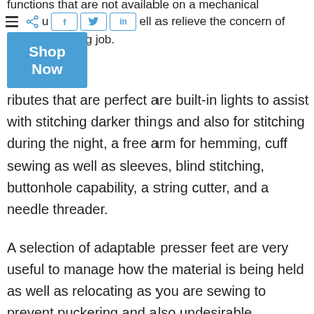functions that are not available on a mechanical
uu...ell as relieve the concern of
tedious stitching job.
[Figure (other): Social sharing toolbar with hamburger menu icon, share icon, and Facebook (f), Twitter (bird), LinkedIn (in) buttons with blue outlines]
[Figure (other): Blue 'Shop Now' button]
ributes that are perfect are built-in lights to assist with stitching darker things and also for stitching during the night, a free arm for hemming, cuff sewing as well as sleeves, blind stitching, buttonhole capability, a string cutter, and a needle threader.
A selection of adaptable presser feet are very useful to manage how the material is being held as well as relocating as you are sewing to prevent puckering and also undesirable extending of knit materials and various other